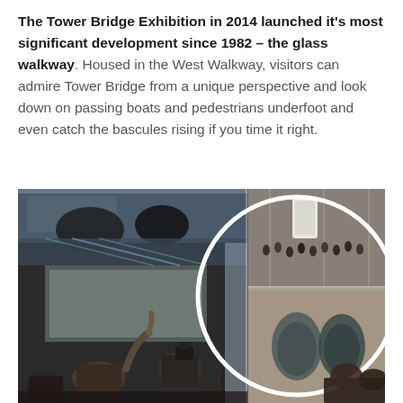The Tower Bridge Exhibition in 2014 launched it's most significant development since 1982 – the glass walkway. Housed in the West Walkway, visitors can admire Tower Bridge from a unique perspective and look down on passing boats and pedestrians underfoot and even catch the bascules rising if you time it right.
[Figure (photo): Two photographs: left shows visitors and photographers on the glass walkway of Tower Bridge interior; right is a circular inset showing a top-down view looking through the glass floor at pedestrians and a vehicle on the bridge below, and another shot of feet on the glass floor.]